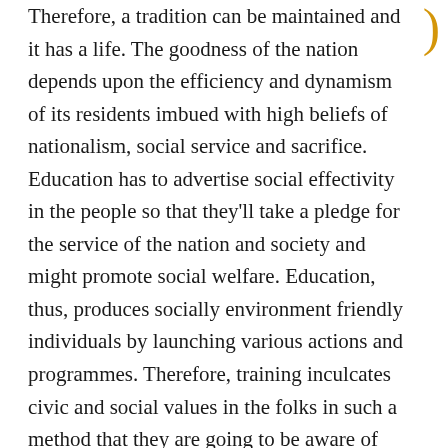Therefore, a tradition can be maintained and it has a life. The goodness of the nation depends upon the efficiency and dynamism of its residents imbued with high beliefs of nationalism, social service and sacrifice. Education has to advertise social effectivity in the people so that they'll take a pledge for the service of the nation and society and might promote social welfare. Education, thus, produces socially environment friendly individuals by launching various actions and programmes. Therefore, training inculcates civic and social values in the folks in such a method that they are going to be aware of their duties, obligations and responsibilities in path of the nation and society. Development of the nation solely depends upon the extent to which individuals not only possess the values but in addition discharge their obligation and duties correctly and efficiently.